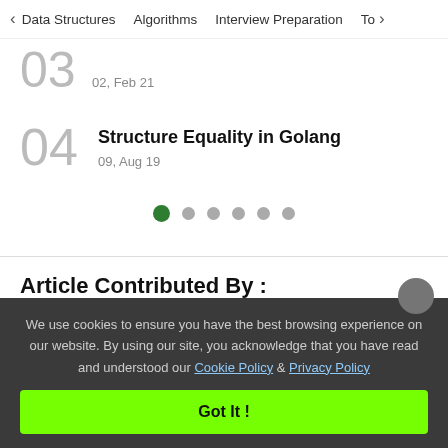< Data Structures   Algorithms   Interview Preparation   To>
03
02, Feb 21
04  Structure Equality in Golang
09, Aug 19
[Figure (other): Pagination dots: 6 dots, first one green/active, rest grey]
Article Contributed By :
We use cookies to ensure you have the best browsing experience on our website. By using our site, you acknowledge that you have read and understood our Cookie Policy & Privacy Policy
Got It !